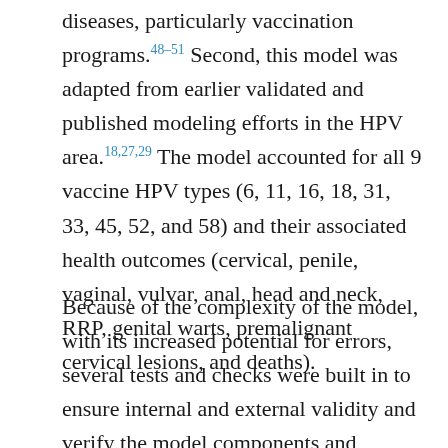diseases, particularly vaccination programs.48–51 Second, this model was adapted from earlier validated and published modeling efforts in the HPV area.18,27,29 The model accounted for all 9 vaccine HPV types (6, 11, 16, 18, 31, 33, 45, 52, and 58) and their associated health outcomes (cervical, penile, vaginal, vulvar, anal, head and neck, RRP, genital warts, premalignant cervical lesions, and deaths).
Because of the complexity of the model, with its increased potential for errors, several tests and checks were built in to ensure internal and external validity and verify the model components and associated